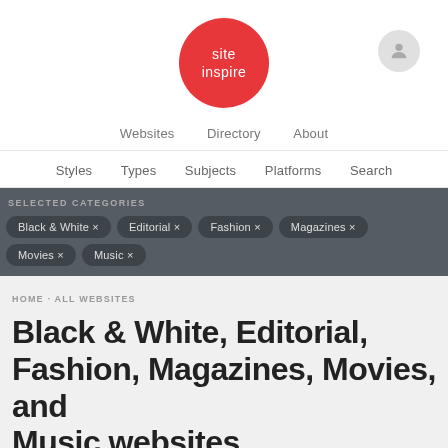[Figure (logo): Site Inspire red circular logo with white text 'site inspire']
Websites   Directory   About
Styles   Types   Subjects   Platforms   Search
SELECTED CATEGORIES
Black & White ×
Editorial ×
Fashion ×
Magazines ×
Movies ×
Music ×
HOME · ALL WEBSITES
Black & White, Editorial, Fashion, Magazines, Movies, and Music websites